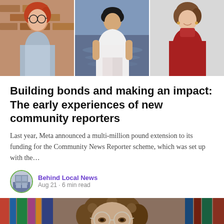[Figure (photo): Three portrait photos side by side: a young person with red hair and glasses against a brick wall, a young man in a white shirt sitting near water, and a young woman in a red turtleneck smiling]
Building bonds and making an impact: The early experiences of new community reporters
Last year, Meta announced a multi-million pound extension to its funding for the Community News Reporter scheme, which was set up with the…
Behind Local News
Aug 21 · 6 min read
[Figure (photo): Close-up photo of a person with curly hair and round glasses, with bookshelves visible in the background]